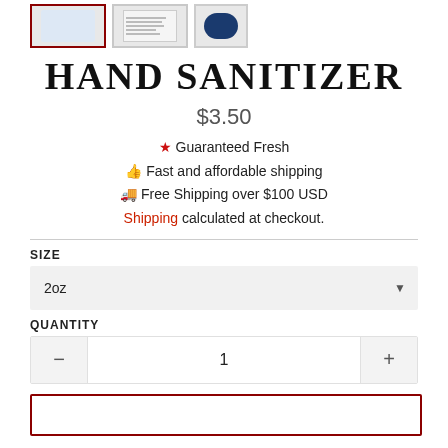[Figure (photo): Three product thumbnail images at top: first is selected (red border) showing a blue hand sanitizer jar, second shows a product label/document, third shows a dark circular item.]
HAND SANITIZER
$3.50
★ Guaranteed Fresh
👍 Fast and affordable shipping
🚚 Free Shipping over $100 USD
Shipping calculated at checkout.
SIZE
2oz
QUANTITY
1